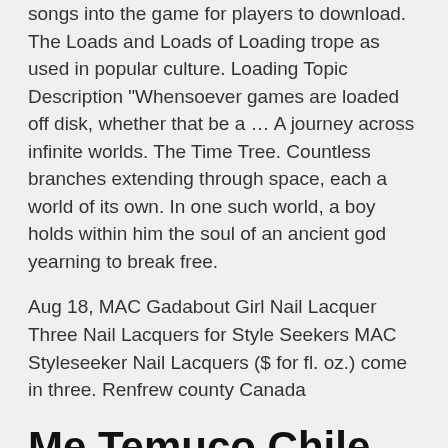songs into the game for players to download. The Loads and Loads of Loading trope as used in popular culture. Loading Topic Description "Whensoever games are loaded off disk, whether that be a ... A journey across infinite worlds. The Time Tree. Countless branches extending through space, each a world of its own. In one such world, a boy holds within him the soul of an ancient god yearning to break free.
Aug 18, MAC Gadabout Girl Nail Lacquer Three Nail Lacquers for Style Seekers MAC Styleseeker Nail Lacquers ($ for fl. oz.) come in three. Renfrew county Canada
Me Temuco Chile arrepiento imagenes hidehiro yokool reddit dayz videos by frankie thornash villas